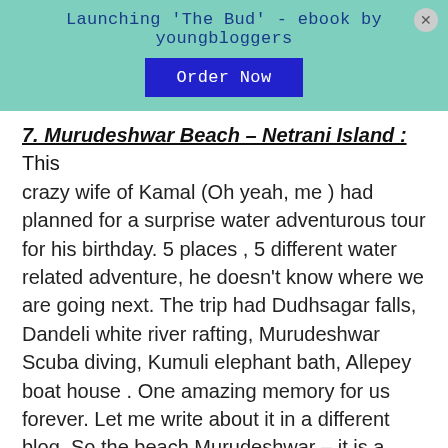Launching 'The Bud' - ebook by youngbloggers
Order Now
7. Murudeshwar Beach – Netrani Island :
This crazy wife of Kamal (Oh yeah, me ) had planned for a surprise water adventurous tour for his birthday. 5 places , 5 different water related adventure, he doesn't know where we are going next. The trip had Dudhsagar falls, Dandeli white river rafting, Murudeshwar Scuba diving, Kumuli elephant bath, Allepey boat house . One amazing memory for us forever. Let me write about it in a different blog. So the beach Murudeshwar – it is a pilgrimage place, the big Shiva statue, RNS residency hotels are